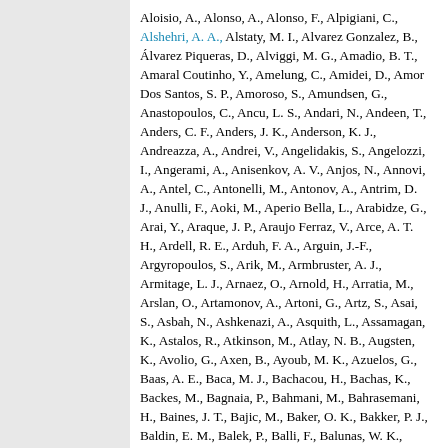Aloisio, A., Alonso, A., Alonso, F., Alpigiani, C., Alshehri, A. A., Alstaty, M. I., Alvarez Gonzalez, B., Álvarez Piqueras, D., Alviggi, M. G., Amadio, B. T., Amaral Coutinho, Y., Amelung, C., Amidei, D., Amor Dos Santos, S. P., Amoroso, S., Amundsen, G., Anastopoulos, C., Ancu, L. S., Andari, N., Andeen, T., Anders, C. F., Anders, J. K., Anderson, K. J., Andreazza, A., Andrei, V., Angelidakis, S., Angelozzi, I., Angerami, A., Anisenkov, A. V., Anjos, N., Annovi, A., Antel, C., Antonelli, M., Antonov, A., Antrim, D. J., Anulli, F., Aoki, M., Aperio Bella, L., Arabidze, G., Arai, Y., Araque, J. P., Araujo Ferraz, V., Arce, A. T. H., Ardell, R. E., Arduh, F. A., Arguin, J.-F., Argyropoulos, S., Arik, M., Armbruster, A. J., Armitage, L. J., Arnaez, O., Arnold, H., Arratia, M., Arslan, O., Artamonov, A., Artoni, G., Artz, S., Asai, S., Asbah, N., Ashkenazi, A., Asquith, L., Assamagan, K., Astalos, R., Atkinson, M., Atlay, N. B., Augsten, K., Avolio, G., Axen, B., Ayoub, M. K., Azuelos, G., Baas, A. E., Baca, M. J., Bachacou, H., Bachas, K., Backes, M., Bagnaia, P., Bahmani, M., Bahrasemani, H., Baines, J. T., Bajic, M., Baker, O. K., Bakker, P. J., Baldin, E. M., Balek, P., Balli, F., Balunas, W. K.,